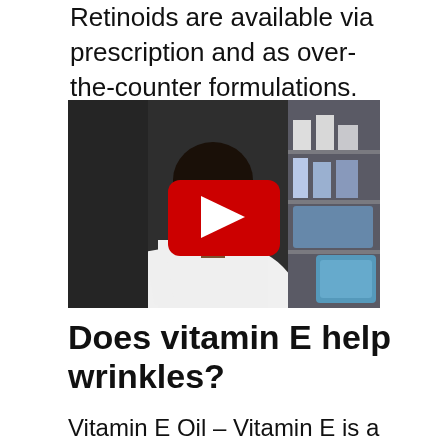Retinoids are available via prescription and as over-the-counter formulations. Retinoids are considered effective for treating and controlling acne.
[Figure (screenshot): Video thumbnail showing a female doctor in a white lab coat speaking, with a YouTube play button overlay. Background shows pharmacy shelves.]
Does vitamin E help wrinkles?
Vitamin E Oil – Vitamin E is a very potent antioxidant that can be used to fight…